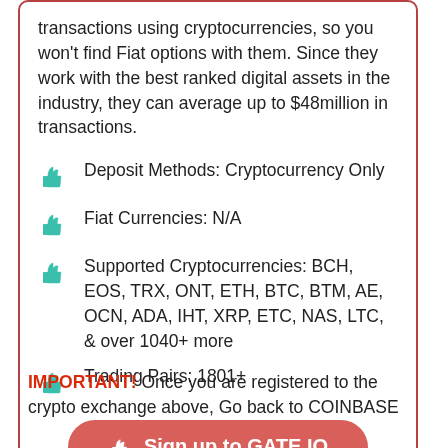transactions using cryptocurrencies, so you won't find Fiat options with them. Since they work with the best ranked digital assets in the industry, they can average up to $48million in transactions.
Deposit Methods: Cryptocurrency Only
Fiat Currencies: N/A
Supported Cryptocurrencies: BCH, EOS, TRX, ONT, ETH, BTC, BTM, AE, OCN, ADA, IHT, XRP, ETC, NAS, LTC, & over 1040+ more
Trading Pairs: 1801+
[Figure (other): Red rounded button with thumbs-up icon and text: Sign up to GATE.IO]
IMPORTANT! Once you are registered to the crypto exchange above, Go back to COINBASE